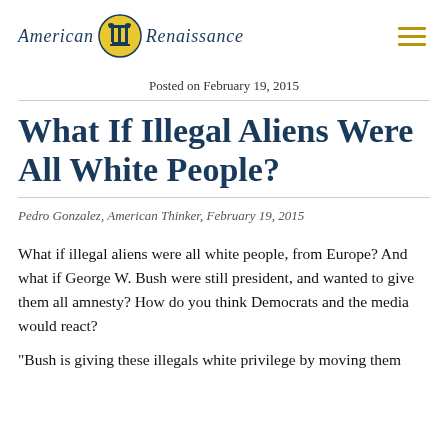American Renaissance
Posted on February 19, 2015
What If Illegal Aliens Were All White People?
Pedro Gonzalez, American Thinker, February 19, 2015
What if illegal aliens were all white people, from Europe? And what if George W. Bush were still president, and wanted to give them all amnesty? How do you think Democrats and the media would react?
“Bush is giving these illegals white privilege by moving them